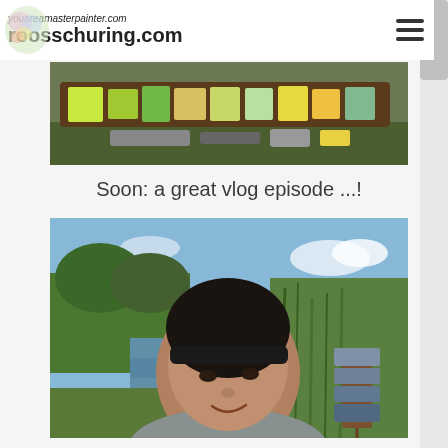youareamasterpainter.com roosschuring.com
[Figure (photo): Close-up photo of an artist's paint palette with colorful paint smears, lying on grass outdoors]
Soon: a great vlog episode ...!
[Figure (photo): Selfie of a woman with dark hair and a black headband, smiling outdoors near a river with green reeds and trees, with a painting easel holding multiple small paintings visible beside her]